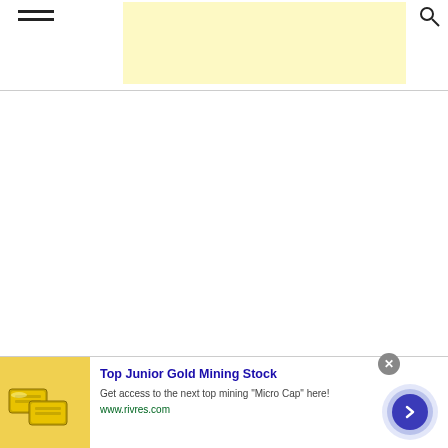[Figure (other): Light yellow advertisement banner placeholder in the page header area]
[Figure (other): Advertisement banner at bottom: Top Junior Gold Mining Stock. Image of gold bars on left. Text: Get access to the next top mining Micro Cap here! www.rivres.com. Close button and navigation arrow button on right.]